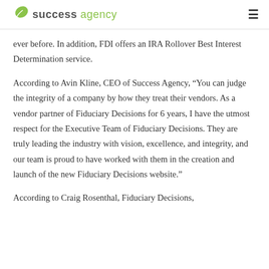success agency
ever before. In addition, FDI offers an IRA Rollover Best Interest Determination service.
According to Avin Kline, CEO of Success Agency, “You can judge the integrity of a company by how they treat their vendors. As a vendor partner of Fiduciary Decisions for 6 years, I have the utmost respect for the Executive Team of Fiduciary Decisions. They are truly leading the industry with vision, excellence, and integrity, and our team is proud to have worked with them in the creation and launch of the new Fiduciary Decisions website.”
According to Craig Rosenthal, Fiduciary Decisions,